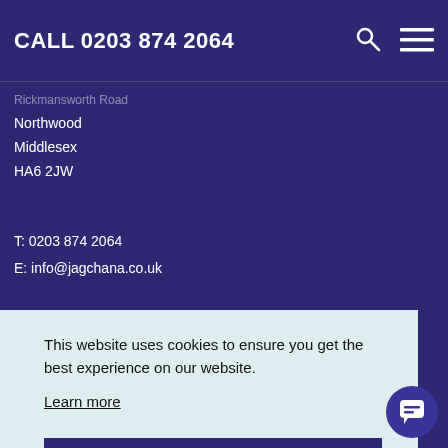CALL 0203 874 2064
Rickmansworth Road
Northwood
Middlesex
HA6 2JW
T: 0203 874 2064
E: info@jagchana.co.uk
[Figure (logo): HCA Healthcare UK logo with 'HCA' in white bold and 'Healthcare uk' in teal]
Outpatients & Diagnostics
This website uses cookies to ensure you get the best experience on our website.
Learn more
Accept